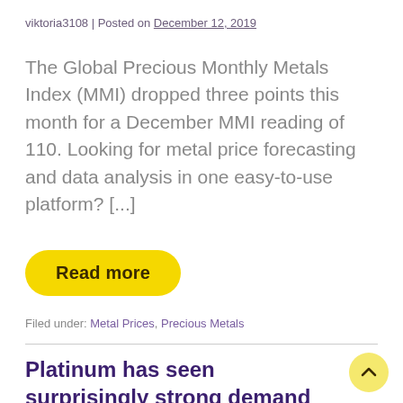viktoria3108 | Posted on December 12, 2019
The Global Precious Monthly Metals Index (MMI) dropped three points this month for a December MMI reading of 110. Looking for metal price forecasting and data analysis in one easy-to-use platform? [...]
Read more
Filed under: Metal Prices, Precious Metals
Platinum has seen surprisingly strong demand this year